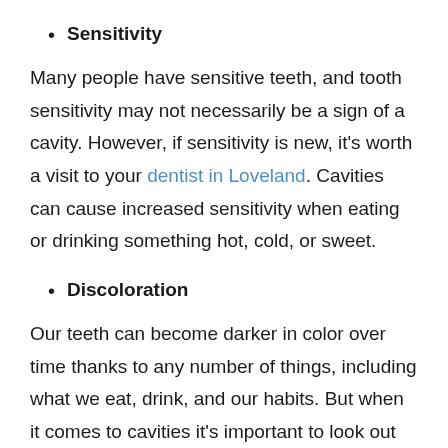Sensitivity
Many people have sensitive teeth, and tooth sensitivity may not necessarily be a sign of a cavity. However, if sensitivity is new, it's worth a visit to your dentist in Loveland. Cavities can cause increased sensitivity when eating or drinking something hot, cold, or sweet.
Discoloration
Our teeth can become darker in color over time thanks to any number of things, including what we eat, drink, and our habits. But when it comes to cavities it's important to look out for any new areas of discoloration. A cavity can first show signs as a small white dot or even a brown, gray,